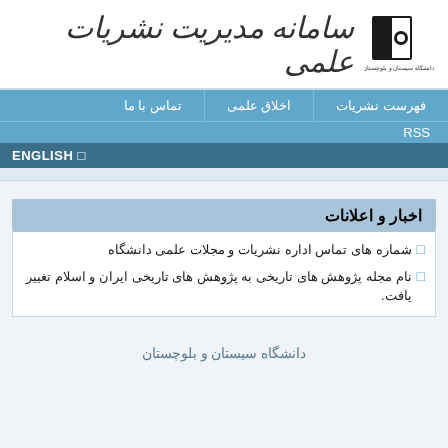[Figure (logo): University logo - black book with gear symbol, text in Persian below]
سامانه مدیریت نشریات علمی
فهرست نشریات | اخلاق علمی | تماس با ما
RSS
ENGLISH □
اخبار و اعلانات
شماره های تماس اداره نشریات و مجلات علمی دانشگاه
نام مجله پژوهش های تاریخی به پژوهش های تاریخی ایران و اسلام تغییر یافت.
دانشگاه سیستان و بلوچستان